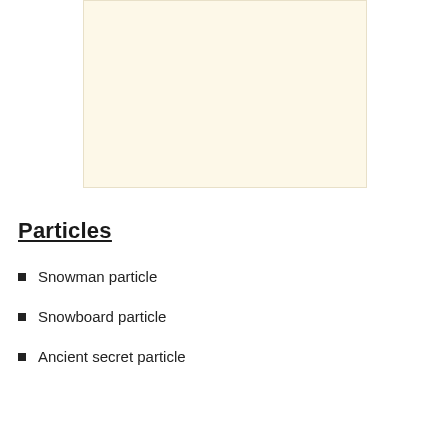[Figure (other): A blank cream/off-white rectangular area, likely a placeholder for an image or figure.]
Particles
Snowman particle
Snowboard particle
Ancient secret particle